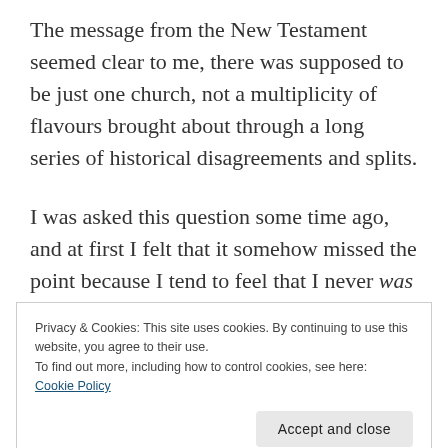The message from the New Testament seemed clear to me, there was supposed to be just one church, not a multiplicity of flavours brought about through a long series of historical disagreements and splits.
I was asked this question some time ago, and at first I felt that it somehow missed the point because I tend to feel that I never was an
Privacy & Cookies: This site uses cookies. By continuing to use this website, you agree to their use.
To find out more, including how to control cookies, see here: Cookie Policy
Accept and close